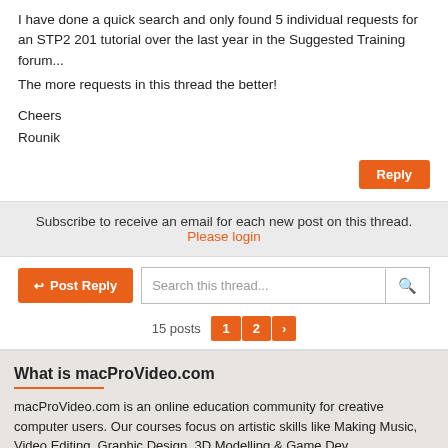I have done a quick search and only found 5 individual requests for an STP2 201 tutorial over the last year in the Suggested Training forum...
The more requests in this thread the better!
Cheers
Rounik
Reply
Subscribe to receive an email for each new post on this thread.
Please login
Post Reply
Search this thread...
15 posts  1  2  ›
What is macProVideo.com
macProVideo.com is an online education community for creative computer users. Our courses focus on artistic skills like Making Music, Video Editing, Graphic Design, 3D Modelling & Game Dev.